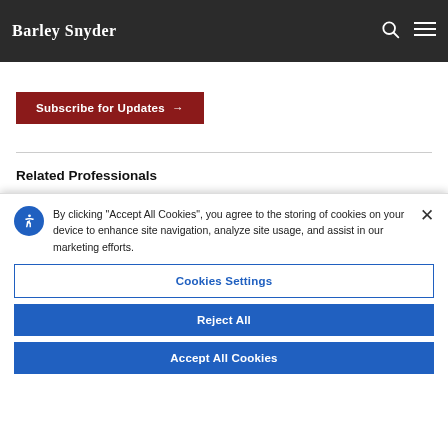Barley Snyder
Subscribe to our mailing lists to receive the latest updates from our Barley Snyder variety of topics including recent news and upcoming events.
Subscribe for Updates →
Related Professionals
By clicking "Accept All Cookies", you agree to the storing of cookies on your device to enhance site navigation, analyze site usage, and assist in our marketing efforts.
Cookies Settings
Reject All
Accept All Cookies